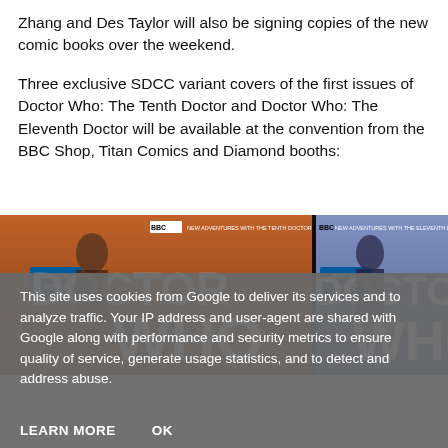Zhang and Des Taylor will also be signing copies of the new comic books over the weekend.
Three exclusive SDCC variant covers of the first issues of Doctor Who: The Tenth Doctor and Doctor Who: The Eleventh Doctor will be available at the convention from the BBC Shop, Titan Comics and Diamond booths:
[Figure (photo): Two Doctor Who comic book covers side by side. Left: 'Doctor Who: New Adventures with the Tenth Doctor' with BBC logo, showing the Tenth Doctor and large white 'DOCTOR WHO' text. Right: 'Doctor Who: New Adventures with the Eleventh Doctor' with BBC logo, showing the Eleventh Doctor and large white 'DOCTOR WHO' text.]
This site uses cookies from Google to deliver its services and to analyze traffic. Your IP address and user-agent are shared with Google along with performance and security metrics to ensure quality of service, generate usage statistics, and to detect and address abuse.
LEARN MORE    OK